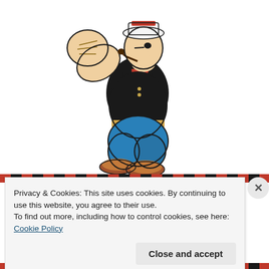[Figure (illustration): Cartoon illustration of Popeye the Sailor Man character, shown from roughly mid-body upward with one large fist raised, wearing a black sailor outfit with red neckerchief and a sailor cap, with blue pants and brown shoes visible at the bottom.]
Privacy & Cookies: This site uses cookies. By continuing to use this website, you agree to their use.
To find out more, including how to control cookies, see here: Cookie Policy
Close and accept